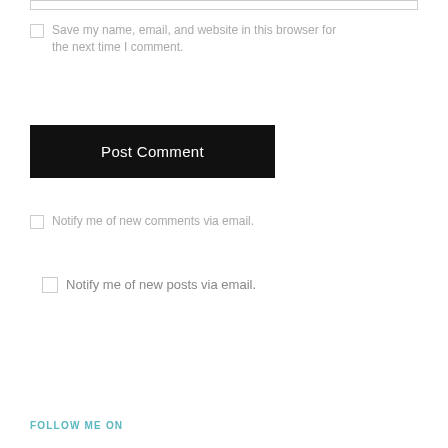Save my name, email, and website in this browser for the next time I comment.
Post Comment
Notify me of new comments via email.
Notify me of new posts via email.
FOLLOW ME ON